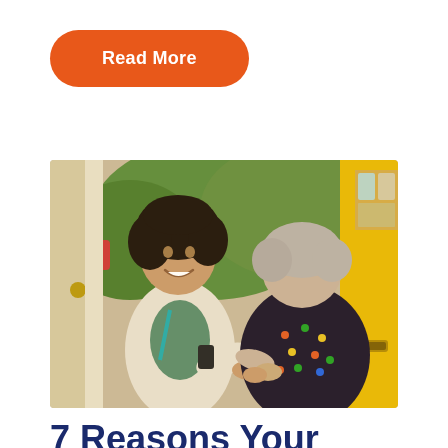Read More
[Figure (photo): A young woman with curly hair wearing a light blazer and teal lanyard shaking hands with an elderly woman at a doorway with a yellow door frame]
7 Reasons Your Business Should Make Lone Worker Safety a